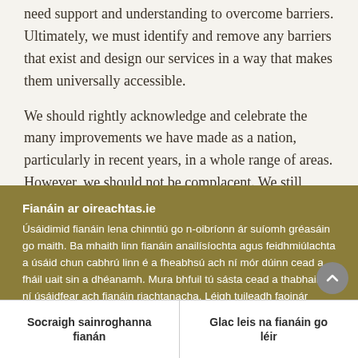need support and understanding to overcome barriers. Ultimately, we must identify and remove any barriers that exist and design our services in a way that makes them universally accessible.
We should rightly acknowledge and celebrate the many improvements we have made as a nation, particularly in recent years, in a whole range of areas. However, we should not be complacent. We still
Fianáin ar oireachtas.ie
Úsáidimid fianáin lena chinntiú go n-oibríonn ár suíomh gréasáin go maith. Ba mhaith linn fianáin anailísíochta agus feidhmiúlachta a úsáid chun cabhrú linn é a fheabhsú ach ní mór dúinn cead a fháil uait sin a dhéanamh. Mura bhfuil tú sásta cead a thabhairt, ní úsáidfear ach fianáin riachtanacha. Léigh tuileadh faoinár bhfianáin
Socraigh sainroghanna fianán
Glac leis na fianáin go léir